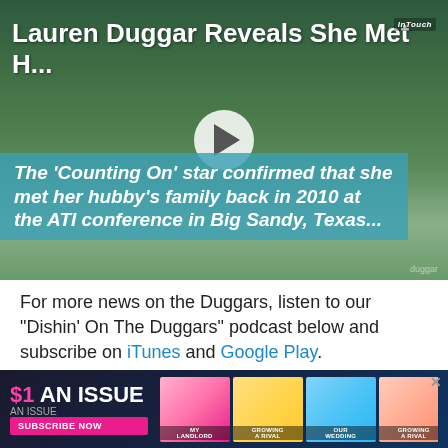[Figure (screenshot): Video thumbnail showing a couple standing outdoors on grass with trees in background. White bold title text at top reads 'Lauren Duggar Reveals She Met H...' with a play button in the center and blue overlay subtitle text: 'The Counting On star confirmed that she met her hubby's family back in 2010 at the ATI conference in Big Sandy, Texas...']
For more news on the Duggars, listen to our "Dishin' On The Duggars" podcast below and subscribe on iTunes and Google Play.
[Figure (screenshot): Advertisement banner for a magazine subscription: '$1 AN ISSUE' with 'SUBSCRIBE NOW' button, Us Weekly magazine logo, and collage photos of celebrities.]